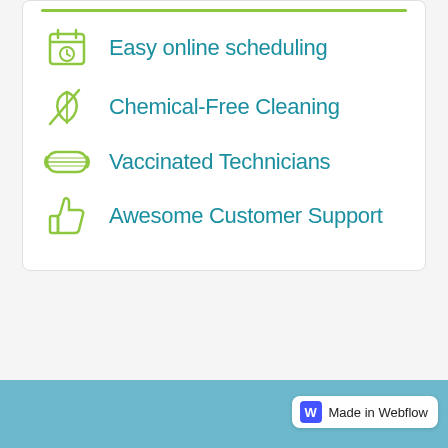Easy online scheduling
Chemical-Free Cleaning
Vaccinated Technicians
Awesome Customer Support
Made in Webflow